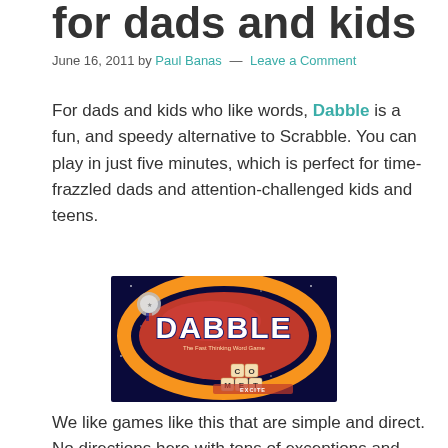for dads and kids
June 16, 2011 by Paul Banas — Leave a Comment
For dads and kids who like words, Dabble is a fun, and speedy alternative to Scrabble. You can play in just five minutes, which is perfect for time-frazzled dads and attention-challenged kids and teens.
[Figure (photo): Box cover of the Dabble board game showing the game name in large letters on a red oval with an orange ring, word tiles arranged below, on a dark blue starry background]
We like games like this that are simple and direct. No directions here with tons of exceptions and twists and